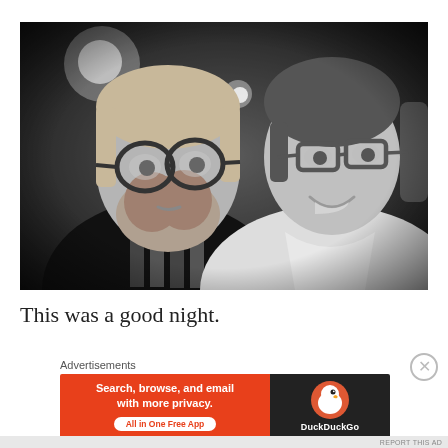[Figure (photo): Black and white photo of two people wearing glasses. On the left, a man with a beard and round glasses wearing a black t-shirt with a graphic print. On the right, a woman with dark hair wearing glasses and a white top, smiling. The background appears to be outdoors at night with bokeh light effects.]
This was a good night.
Advertisements
[Figure (screenshot): DuckDuckGo advertisement banner. Left orange section reads: 'Search, browse, and email with more privacy. All in One Free App'. Right dark section shows DuckDuckGo logo with duck icon and text 'DuckDuckGo'.]